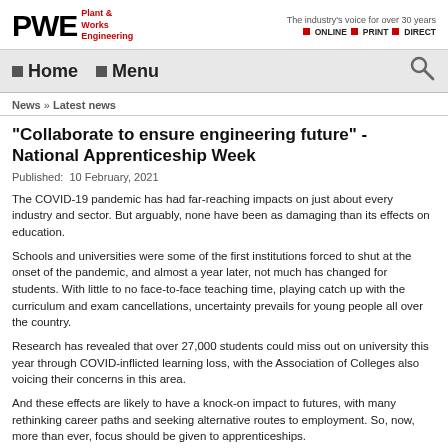[Figure (logo): PWE Plant & Works Engineering logo with tagline 'The industry's voice for over 30 years • ONLINE • PRINT • DIRECT']
Home  Menu
News » Latest news
"Collaborate to ensure engineering future" - National Apprenticeship Week
Published:  10 February, 2021
The COVID-19 pandemic has had far-reaching impacts on just about every industry and sector. But arguably, none have been as damaging than its effects on education.
Schools and universities were some of the first institutions forced to shut at the onset of the pandemic, and almost a year later, not much has changed for students. With little to no face-to-face teaching time, playing catch up with the curriculum and exam cancellations, uncertainty prevails for young people all over the country.
Research has revealed that over 27,000 students could miss out on university this year through COVID-inflicted learning loss, with the Association of Colleges also voicing their concerns in this area.
And these effects are likely to have a knock-on impact to futures, with many rethinking career paths and seeking alternative routes to employment. So, now, more than ever, focus should be given to apprenticeships.
Backing this notion is James Sopwith, group strategic account director at the